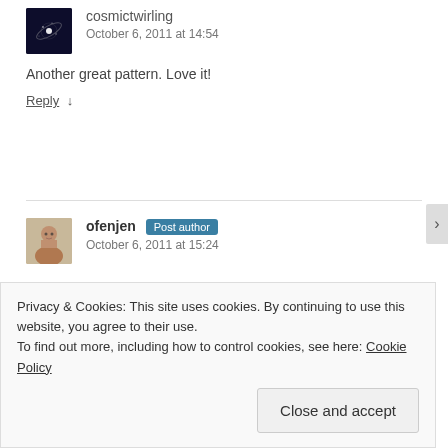[Figure (photo): Avatar image of cosmictwirling user showing a spiral galaxy]
cosmictwirling
October 6, 2011 at 14:54
Another great pattern. Love it!
Reply ↓
[Figure (photo): Avatar image of ofenjen user showing a person with glasses]
ofenjen Post author
October 6, 2011 at 15:24
Privacy & Cookies: This site uses cookies. By continuing to use this website, you agree to their use.
To find out more, including how to control cookies, see here: Cookie Policy
Close and accept